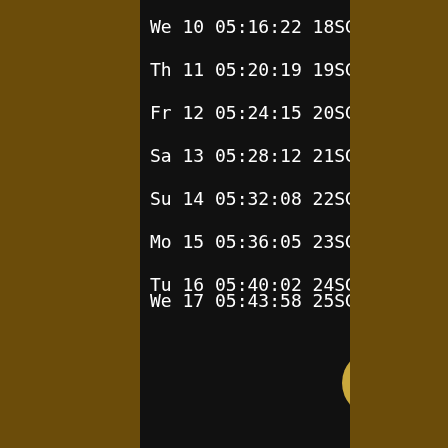We 10 05:16:22 18SG18
Th 11 05:20:19 19SG19
Fr 12 05:24:15 20SG20
Sa 13 05:28:12 21SG21
Su 14 05:32:08 22SG22
Mo 15 05:36:05 23SG23
Tu 16 05:40:02 24SG24
We 17 05:43:58 25SG25